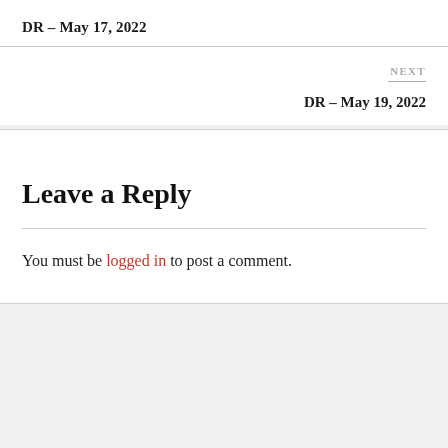DR – May 17, 2022
NEXT
DR – May 19, 2022
Leave a Reply
You must be logged in to post a comment.